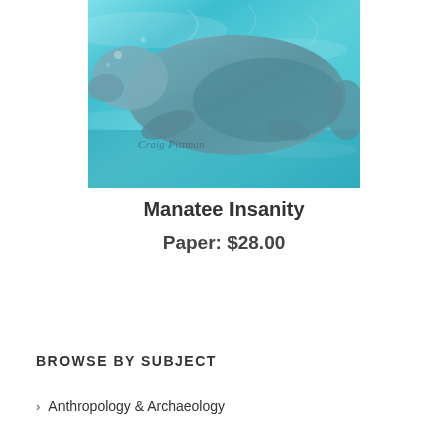[Figure (photo): Underwater photograph of a manatee in turquoise/teal water, with photographer credit 'Craig Pittman' watermarked on the image]
Manatee Insanity
Paper: $28.00
BROWSE BY SUBJECT
Anthropology & Archaeology